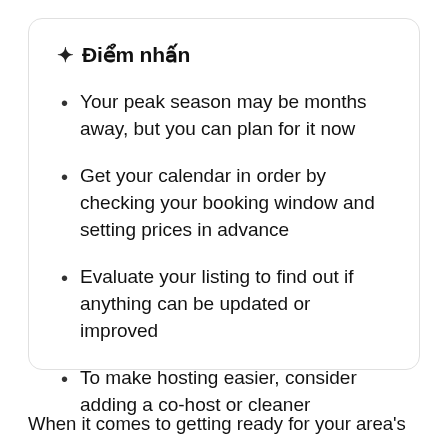✦  Điểm nhấn
Your peak season may be months away, but you can plan for it now
Get your calendar in order by checking your booking window and setting prices in advance
Evaluate your listing to find out if anything can be updated or improved
To make hosting easier, consider adding a co-host or cleaner
When it comes to getting ready for your area's